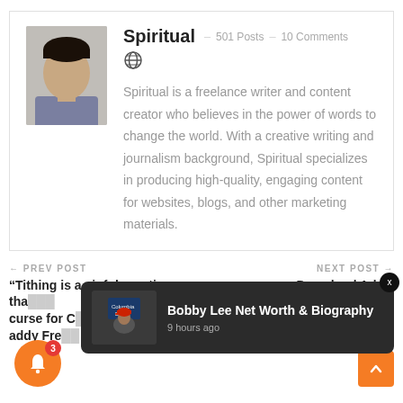Spiritual
501 Posts · 10 Comments
Spiritual is a freelance writer and content creator who believes in the power of words to change the world. With a creative writing and journalism background, Spiritual specializes in producing high-quality, engaging content for websites, blogs, and other marketing materials.
← PREV POST
"Tithing is a sinful practice tha... curse for C... addy Free...
NEXT POST →
Download Adele
[Figure (photo): Notification popup showing Bobby Lee Net Worth & Biography article with thumbnail, timestamp '9 hours ago', and close button]
Bobby Lee Net Worth & Biography
9 hours ago